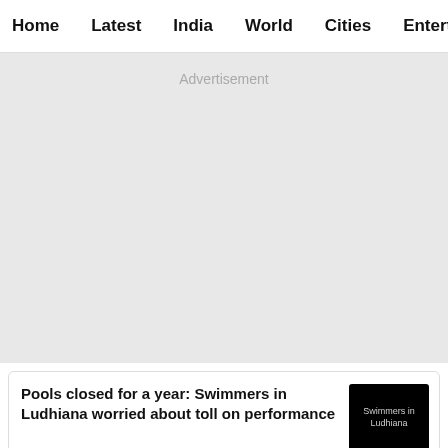Home  Latest  India  World  Cities  Entertainment
[Figure (other): Advertisement placeholder area with light gray background]
Pools closed for a year: Swimmers in Ludhiana worried about toll on performance